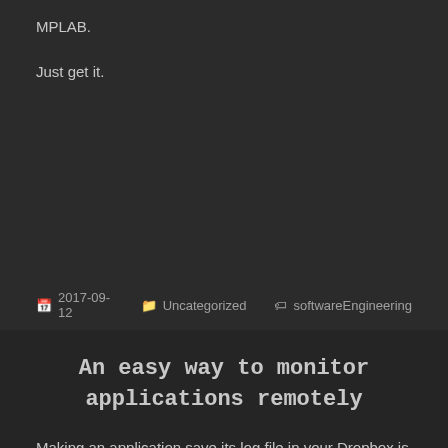MPLAB.
Just get it.
2017-09-12   Uncategorized   softwareEngineering
An easy way to monitor applications remotely
Making an application save its log file in your Dropbox is an easy way to monitor it remotely, even from your